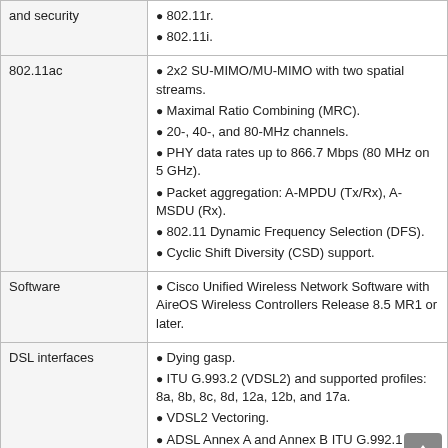| Category | Features |
| --- | --- |
| and security | 802.11r.
802.11i. |
| 802.11ac | 2x2 SU-MIMO/MU-MIMO with two spatial streams.
Maximal Ratio Combining (MRC).
20-, 40-, and 80-MHz channels.
PHY data rates up to 866.7 Mbps (80 MHz on 5 GHz).
Packet aggregation: A-MPDU (Tx/Rx), A-MSDU (Rx).
802.11 Dynamic Frequency Selection (DFS).
Cyclic Shift Diversity (CSD) support. |
| Software | Cisco Unified Wireless Network Software with AireOS Wireless Controllers Release 8.5 MR1 or later. |
| DSL interfaces | Dying gasp.
ITU G.993.2 (VDSL2) and supported profiles: 8a, 8b, 8c, 8d, 12a, 12b, and 17a.
VDSL2 Vectoring.
ADSL Annex A and Annex B ITU G.992.1 (ADSL). |